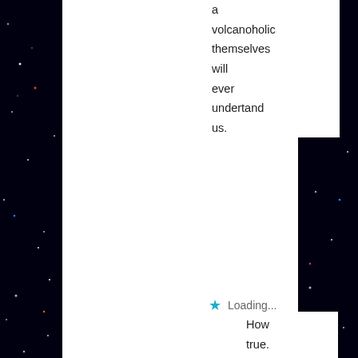a volcanoholic themselves will ever undertand us.
★ Loading...
[Figure (illustration): User avatar for cdaley55 - cartoon face with purple hijab]
cdaley55
02/07/2015 at 06:29
How true. :-<